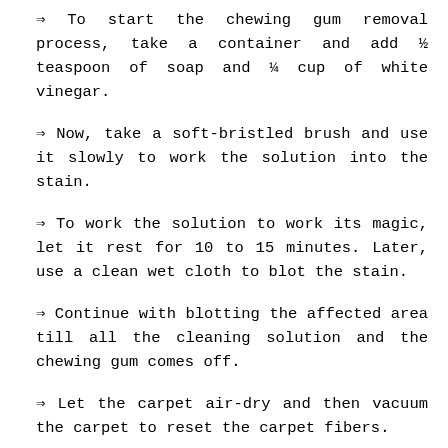⇒ To start the chewing gum removal process, take a container and add ½ teaspoon of soap and ¼ cup of white vinegar.
⇒ Now, take a soft-bristled brush and use it slowly to work the solution into the stain.
⇒ To work the solution to work its magic, let it rest for 10 to 15 minutes. Later, use a clean wet cloth to blot the stain.
⇒ Continue with blotting the affected area till all the cleaning solution and the chewing gum comes off.
⇒ Let the carpet air-dry and then vacuum the carpet to reset the carpet fibers.